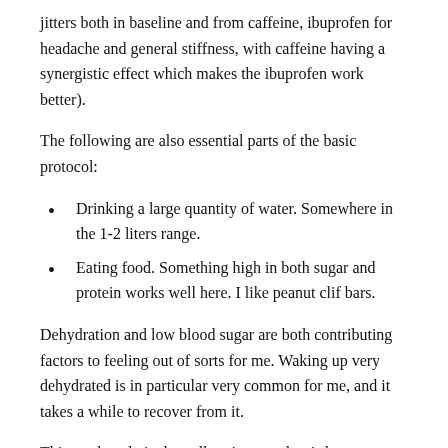jitters both in baseline and from caffeine, ibuprofen for headache and general stiffness, with caffeine having a synergistic effect which makes the ibuprofen work better).
The following are also essential parts of the basic protocol:
Drinking a large quantity of water. Somewhere in the 1-2 liters range.
Eating food. Something high in both sugar and protein works well here. I like peanut clif bars.
Dehydration and low blood sugar are both contributing factors to feeling out of sorts for me. Waking up very dehydrated is in particular very common for me, and it takes a while to recover from it.
This works relatively well on its own, but is best followed by:
The Advanced Protocol